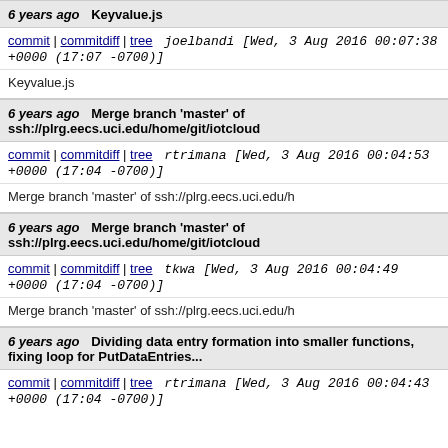6 years ago   Keyvalue.js
commit | commitdiff | tree   joelbandi [Wed, 3 Aug 2016 00:07:38 +0000 (17:07 -0700)]
Keyvalue.js
6 years ago   Merge branch 'master' of ssh://plrg.eecs.uci.edu/home/git/iotcloud
commit | commitdiff | tree   rtrimana [Wed, 3 Aug 2016 00:04:53 +0000 (17:04 -0700)]
Merge branch 'master' of ssh://plrg.eecs.uci.edu/h
6 years ago   Merge branch 'master' of ssh://plrg.eecs.uci.edu/home/git/iotcloud
commit | commitdiff | tree   tkwa [Wed, 3 Aug 2016 00:04:49 +0000 (17:04 -0700)]
Merge branch 'master' of ssh://plrg.eecs.uci.edu/h
6 years ago   Dividing data entry formation into smaller functions, fixing loop for PutDataEntries...
commit | commitdiff | tree   rtrimana [Wed, 3 Aug 2016 00:04:43 +0000 (17:04 -0700)]